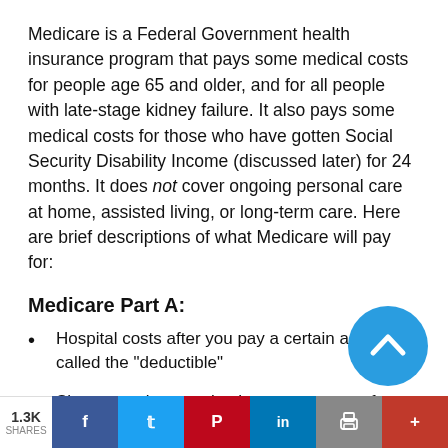Medicare is a Federal Government health insurance program that pays some medical costs for people age 65 and older, and for all people with late-stage kidney failure. It also pays some medical costs for those who have gotten Social Security Disability Income (discussed later) for 24 months. It does not cover ongoing personal care at home, assisted living, or long-term care. Here are brief descriptions of what Medicare will pay for:
Medicare Part A:
Hospital costs after you pay a certain amount, called the "deductible"
Short stays in a nursing home to get care for a hospital-related medical condition